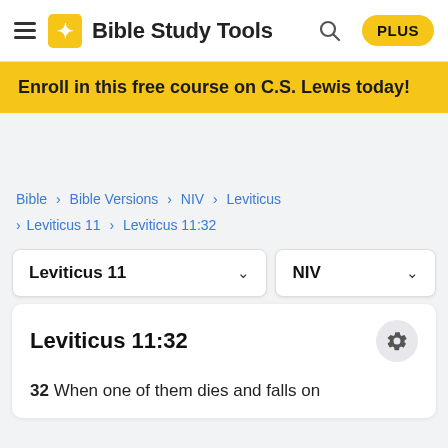Bible Study Tools PLUS
Enroll in this free course on C.S. Lewis today!
Bible > Bible Versions > NIV > Leviticus > Leviticus 11 > Leviticus 11:32
Leviticus 11 ∨
NIV ∨
Leviticus 11:32
32 When one of them dies and falls on